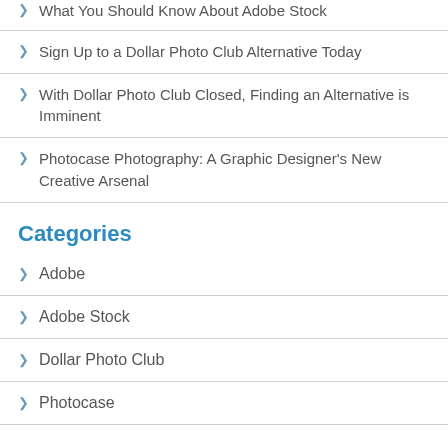What You Should Know About Adobe Stock
Sign Up to a Dollar Photo Club Alternative Today
With Dollar Photo Club Closed, Finding an Alternative is Imminent
Photocase Photography: A Graphic Designer's New Creative Arsenal
Categories
Adobe
Adobe Stock
Dollar Photo Club
Photocase